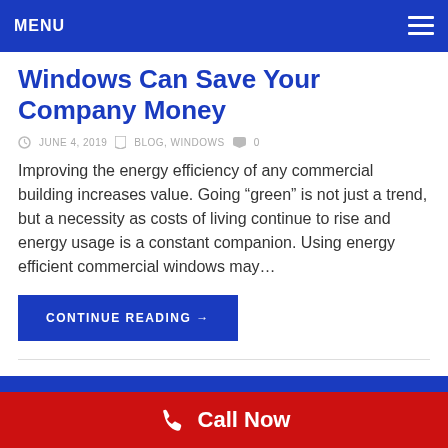MENU
Windows Can Save Your Company Money
JUNE 4, 2019   BLOG, WINDOWS   0
Improving the energy efficiency of any commercial building increases value. Going "green" is not just a trend, but a necessity as costs of living continue to rise and energy usage is a constant companion. Using energy efficient commercial windows may…
CONTINUE READING →
Call Now